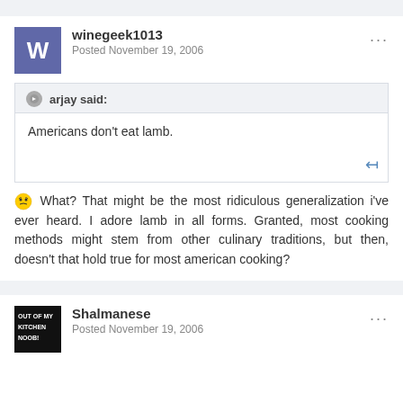winegeek1013
Posted November 19, 2006
arjay said:
Americans don't eat lamb.
What? That might be the most ridiculous generalization i've ever heard. I adore lamb in all forms. Granted, most cooking methods might stem from other culinary traditions, but then, doesn't that hold true for most american cooking?
Shalmanese
Posted November 19, 2006